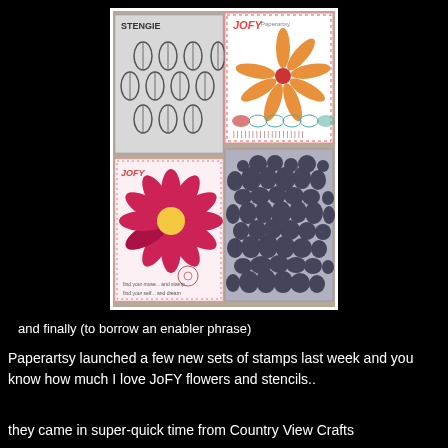[Figure (photo): Photo of Paperartsy JoFY stamp sets and stencils: a stencil with oval patterns, two JoFY stamp set packaging cards featuring flowers (daisy and star-shaped flower), and a grey stencil with bubble/pebble pattern]
and finally (to borrow an enabler phrase)
Paperartsy launched a few new sets of stamps last week and you know how much I love JoFY flowers and stencils..
they came in super-quick time from Country View Crafts